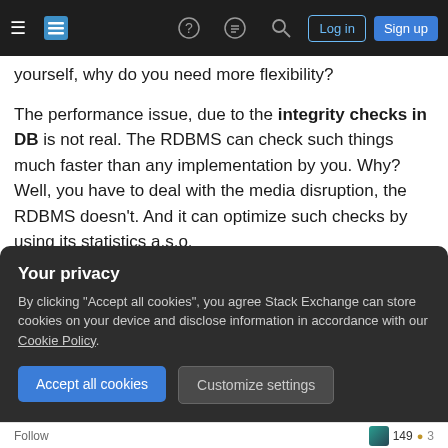Stack Exchange navigation bar with hamburger menu, logo, help, chat, search icons, Log in and Sign up buttons
yourself, why do you need more flexibility?
The performance issue, due to the integrity checks in DB is not real. The RDBMS can check such things much faster than any implementation by you. Why? Well, you have to deal with the media disruption, the RDBMS doesn't. And it can optimize such checks by using its statistics a.s.o.
So you see, it all comes back to design. Of course you can say now, but what if an unknown
Your privacy
By clicking "Accept all cookies", you agree Stack Exchange can store cookies on your device and disclose information in accordance with our Cookie Policy.
Accept all cookies
Customize settings
Follow   149  3